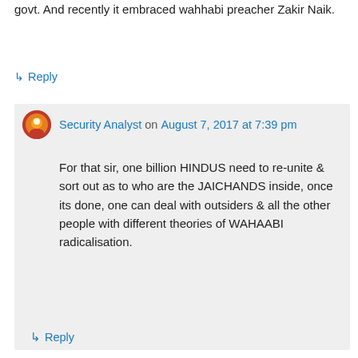govt. And recently it embraced wahhabi preacher Zakir Naik.
↳ Reply
Security Analyst on August 7, 2017 at 7:39 pm
For that sir, one billion HINDUS need to re-unite & sort out as to who are the JAICHANDS inside, once its done, one can deal with outsiders & all the other people with different theories of WAHAABI radicalisation.
↳ Reply